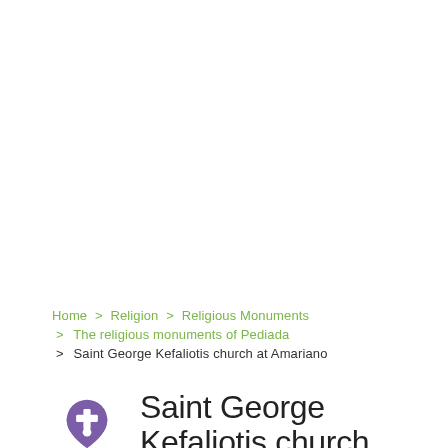Home > Religion > Religious Monuments > The religious monuments of Pediada > Saint George Kefaliotis church at Amariano
Saint George Kefaliotis church